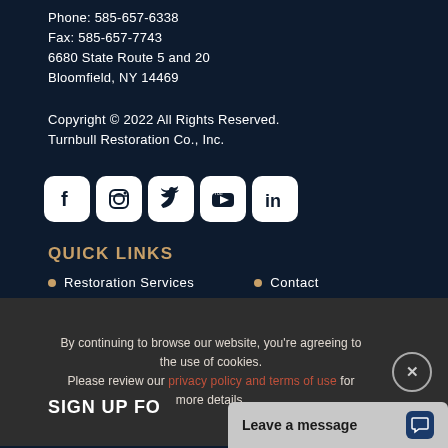Phone: 585-657-6338
Fax: 585-657-7743
6680 State Route 5 and 20
Bloomfield, NY 14469
Copyright © 2022 All Rights Reserved.
Turnbull Restoration Co., Inc.
[Figure (other): Social media icons: Facebook, Instagram, Twitter, YouTube, LinkedIn]
QUICK LINKS
Restoration Services
Contact
By continuing to browse our website, you're agreeing to the use of cookies.
Please review our privacy policy and terms of use for more details.
SIGN UP FO...
Leave a message